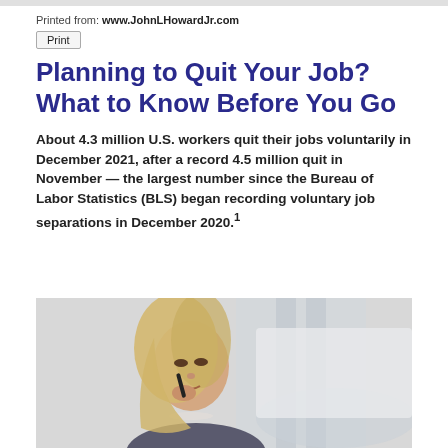Printed from: www.JohnLHowardJr.com
Print
Planning to Quit Your Job? What to Know Before You Go
About 4.3 million U.S. workers quit their jobs voluntarily in December 2021, after a record 4.5 million quit in November — the largest number since the Bureau of Labor Statistics (BLS) began recording voluntary job separations in December 2020.¹
[Figure (photo): Professional woman with blonde hair holding a pen to her chin, appearing thoughtful, in an office setting]